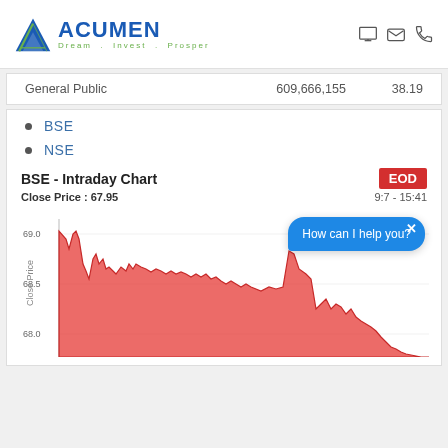[Figure (logo): Acumen logo with blue triangle and text 'ACUMEN Dream . Invest . Prosper']
| General Public | 609,666,155 | 38.19 |
BSE
NSE
BSE - Intraday Chart
Close Price : 67.95
9:7 - 15:41
[Figure (continuous-plot): BSE Intraday Chart showing close price over time from 9:7 to 15:41, with price range approximately 68.0 to 69.0, red area chart. A blue chat bubble overlay says 'How can I help you?']